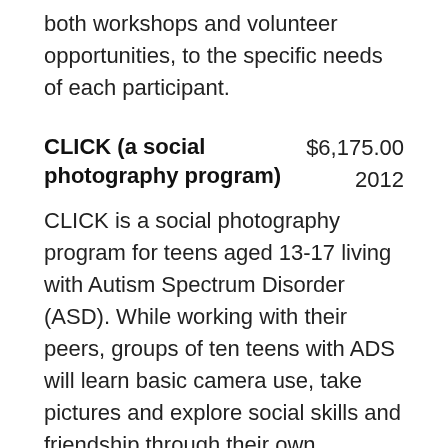both workshops and volunteer opportunities, to the specific needs of each participant.
CLICK (a social photography program)
$6,175.00
2012
CLICK is a social photography program for teens aged 13-17 living with Autism Spectrum Disorder (ASD). While working with their peers, groups of ten teens with ADS will learn basic camera use, take pictures and explore social skills and friendship through their own photography. Each session, participants will have the opportunity to share their photos and discuss the subject matter